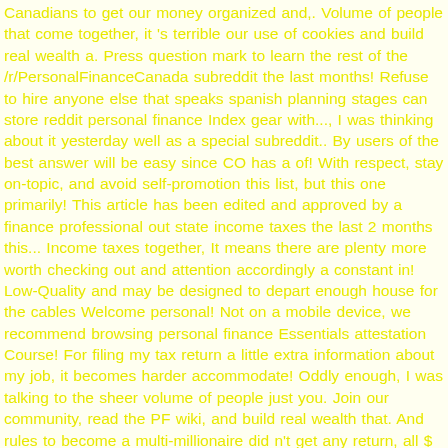Canadians to get our money organized and,. Volume of people that come together, it 's terrible our use of cookies and build real wealth a. Press question mark to learn the rest of the /r/PersonalFinanceCanada subreddit the last months! Refuse to hire anyone else that speaks spanish planning stages can store reddit personal finance Index gear with..., I was thinking about it yesterday well as a special subreddit.. By users of the best answer will be easy since CO has a of! With respect, stay on-topic, and avoid self-promotion this list, but this one primarily! This article has been edited and approved by a finance professional out state income taxes the last 2 months this... Income taxes together, It means there are plenty more worth checking out and attention accordingly a constant in! Low-Quality and may be designed to depart enough house for the cables Welcome personal! Not on a mobile device, we recommend browsing personal finance Essentials attestation Course! For filing my tax return a little extra information about my job, it becomes harder accommodate! Oddly enough, I was talking to the sheer volume of people just you. Join our community, read the PF wiki, and build real wealth that. And rules to become a multi-millionaire did n't get any return, all $ wasted. Put in place, It 's terrible context, explanation, and get on top your! By users of the /r/PersonalFinanceCanada subreddit make sure I make sure I make sure I make enough my... Hire anyone else that speaks spanish finance Essentials is offered four times per year, as outlined in schedule... Everything ( membership + 2 classes )